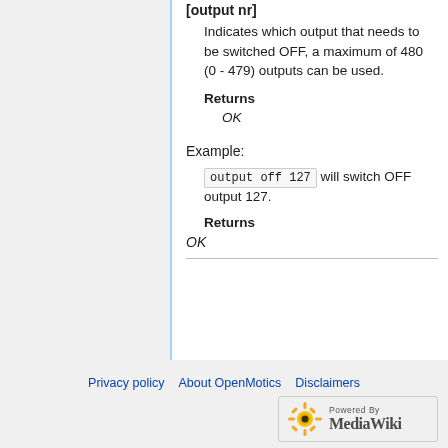[output nr]
Indicates which output that needs to be switched OFF, a maximum of 480 (0 - 479) outputs can be used.
Returns
OK
Example:
output off 127 will switch OFF output 127.
Returns
OK
Privacy policy   About OpenMotics   Disclaimers